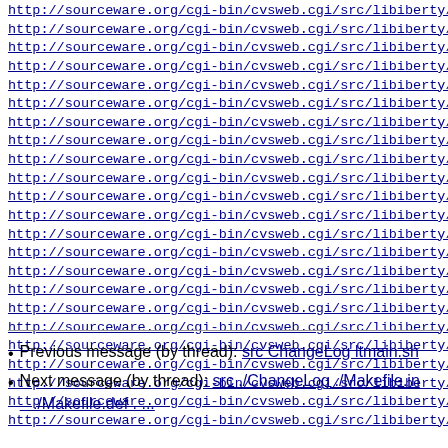http://sourceware.org/cgi-bin/cvsweb.cgi/src/libiberty/me...
http://sourceware.org/cgi-bin/cvsweb.cgi/src/libiberty/me...
http://sourceware.org/cgi-bin/cvsweb.cgi/src/libiberty/me...
http://sourceware.org/cgi-bin/cvsweb.cgi/src/libiberty/me...
http://sourceware.org/cgi-bin/cvsweb.cgi/src/libiberty/me...
http://sourceware.org/cgi-bin/cvsweb.cgi/src/libiberty/me...
http://sourceware.org/cgi-bin/cvsweb.cgi/src/libiberty/me...
http://sourceware.org/cgi-bin/cvsweb.cgi/src/libiberty/me...
http://sourceware.org/cgi-bin/cvsweb.cgi/src/libiberty/pe...
http://sourceware.org/cgi-bin/cvsweb.cgi/src/libiberty/ra...
http://sourceware.org/cgi-bin/cvsweb.cgi/src/libiberty/se...
http://sourceware.org/cgi-bin/cvsweb.cgi/src/libiberty/se...
http://sourceware.org/cgi-bin/cvsweb.cgi/src/libiberty/si...
http://sourceware.org/cgi-bin/cvsweb.cgi/src/libiberty/sh...
http://sourceware.org/cgi-bin/cvsweb.cgi/src/libiberty/sp...
http://sourceware.org/cgi-bin/cvsweb.cgi/src/libiberty/st...
http://sourceware.org/cgi-bin/cvsweb.cgi/src/libiberty/st...
http://sourceware.org/cgi-bin/cvsweb.cgi/src/libiberty/st...
http://sourceware.org/cgi-bin/cvsweb.cgi/src/libiberty/st...
http://sourceware.org/cgi-bin/cvsweb.cgi/src/libiberty/va...
http://sourceware.org/cgi-bin/cvsweb.cgi/src/libiberty/vp...
http://sourceware.org/cgi-bin/cvsweb.cgi/src/libiberty/vs...
http://sourceware.org/cgi-bin/cvsweb.cgi/src/libiberty/xn...
Previous message (by thread): src ChangeLog ltmain.sh
Next message (by thread): src ./ChangeLog ./Makefile.in ./Makefile.def . ...